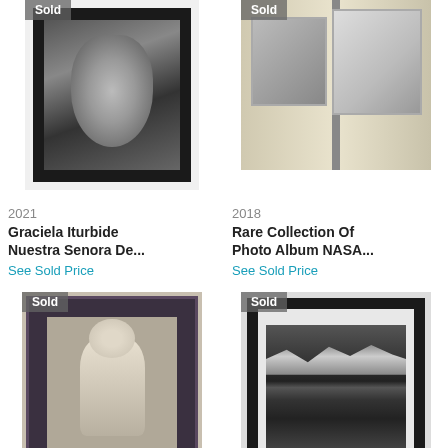[Figure (photo): Black and white framed portrait photograph with 'Sold' badge]
[Figure (photo): Open photo album or NASA book with images, 'Sold' badge]
2021
2018
Graciela Iturbide Nuestra Senora De...
Rare Collection Of Photo Album NASA...
See Sold Price
See Sold Price
[Figure (photo): Ornate decorative frame with figurine/statue inside, 'Sold' badge]
[Figure (photo): Black and white landscape photograph in white mat and black frame, 'Sold' badge]